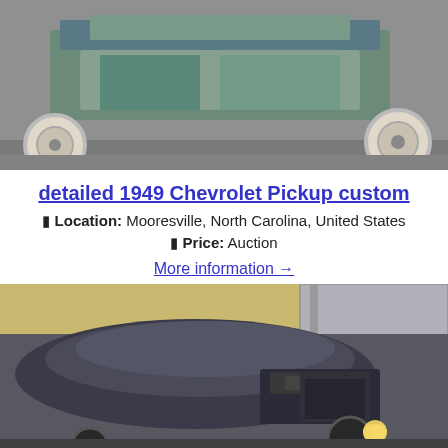[Figure (photo): Top-down view of a 1949 Chevrolet Pickup custom hot rod with white wall tires visible on left and right, colorful patina body]
detailed 1949 Chevrolet Pickup custom
🔲 Location: Mooresville, North Carolina, United States
🔲 Price: Auction
More information →
[Figure (photo): Dark matte black custom hot rod car with chopped top, exposed engine, and headlights on, parked outdoors near dry grass and a building]